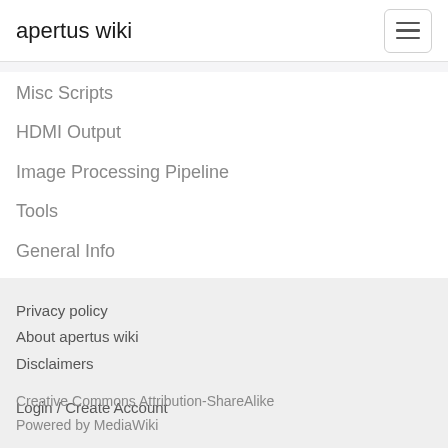apertus wiki
Misc Scripts
HDMI Output
Image Processing Pipeline
Tools
General Info
Tutorials / Guides / Research / Topics
Privacy policy
About apertus wiki
Disclaimers
Login / Create Account
Creative Commons Attribution-ShareAlike
Powered by MediaWiki